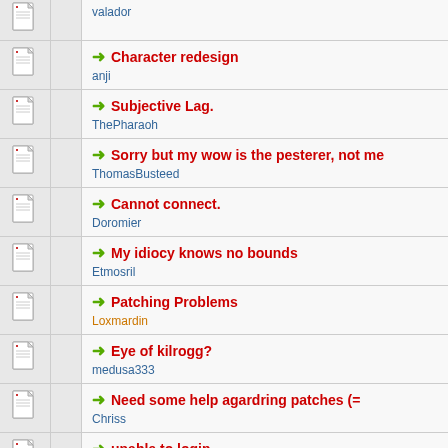valador
Character redesign
anji
Subjective Lag.
ThePharaoh
Sorry but my wow is the pesterer, not me
ThomasBusteed
Cannot connect.
Doromier
My idiocy knows no bounds
Etmosril
Patching Problems
Loxmardin
Eye of kilrogg?
medusa333
Need some help agardring patches (=
Chriss
unable to login
superman523